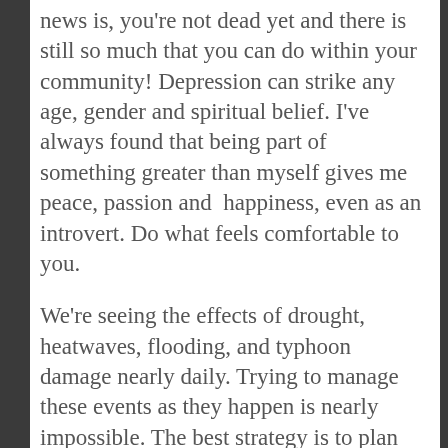news is, you're not dead yet and there is still so much that you can do within your community! Depression can strike any age, gender and spiritual belief. I've always found that being part of something greater than myself gives me peace, passion and  happiness, even as an introvert. Do what feels comfortable to you.
We're seeing the effects of drought, heatwaves, flooding, and typhoon damage nearly daily. Trying to manage these events as they happen is nearly impossible. The best strategy is to plan for them in advance, which can be difficult when people are stuck in an “out of sight, out of mind” way of reacting to things. As a disaster preparedness geek, I'm always planning one season ahead. In the summer I prepare for Fall, in the Fall I prepare for